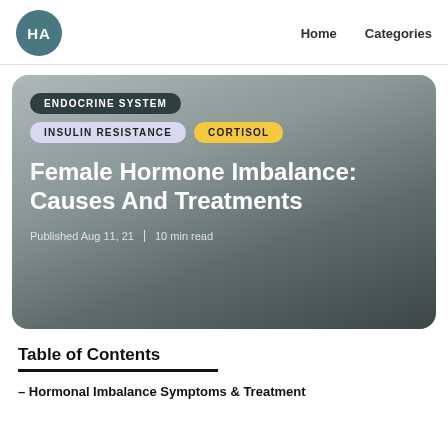HA  Home  Categories
[Figure (other): Hero card with gradient background containing category tags (ENDOCRINE SYSTEM, INSULIN RESISTANCE, CORTISOL), article title, and publish metadata]
Female Hormone Imbalance: Causes And Treatments
Published Aug 11, 21  |  10 min read
Table of Contents
– Hormonal Imbalance Symptoms & Treatment